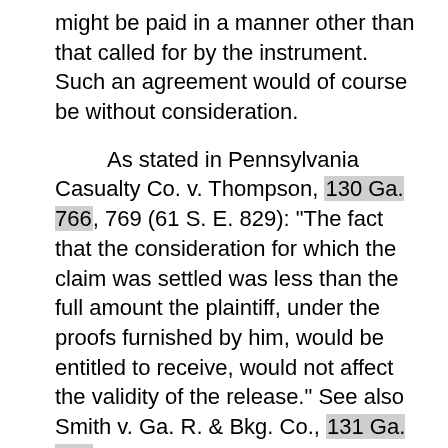might be paid in a manner other than that called for by the instrument. Such an agreement would of course be without consideration.
As stated in Pennsylvania Casualty Co. v. Thompson, 130 Ga. 766, 769 (61 S. E. 829): "The fact that the consideration for which the claim was settled was less than the full amount the plaintiff, under the proofs furnished by him, would be entitled to receive, would not affect the validity of the release." See also Smith v. Ga. R. & Bkg. Co., 131 Ga. 470 (62 S. E. 673); Blalock v. Millers National Insurance Co., 67 Ga. App. 469 (1) (21 S. E. 2d 131); Farmer v. Bankers Health & Life Ins. Co., 69 Ga. App. 195, 199 (24 S. E. 2d 821);